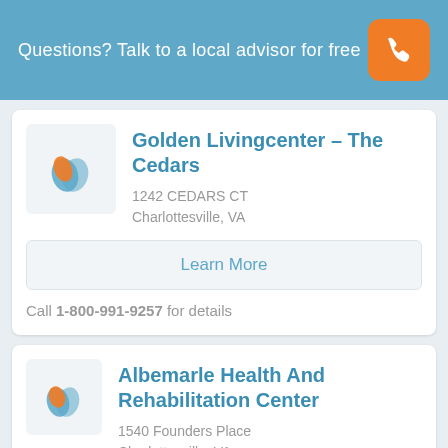Questions? Talk to a local advisor for free
Golden Livingcenter - The Cedars
1242 CEDARS CT
Charlottesville, VA
Learn More
Call 1-800-991-9257 for details
Albemarle Health And Rehabilitation Center
1540 Founders Place
Charlottesville, VA
Learn More